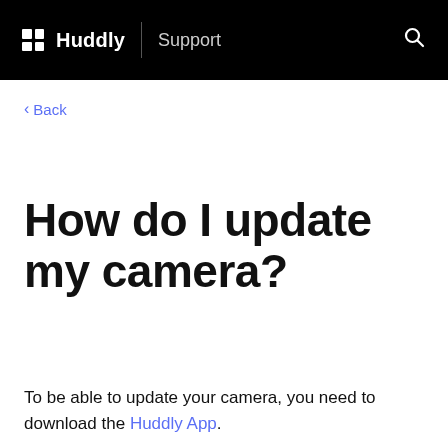Huddly | Support
< Back
How do I update my camera?
To be able to update your camera, you need to download the Huddly App.